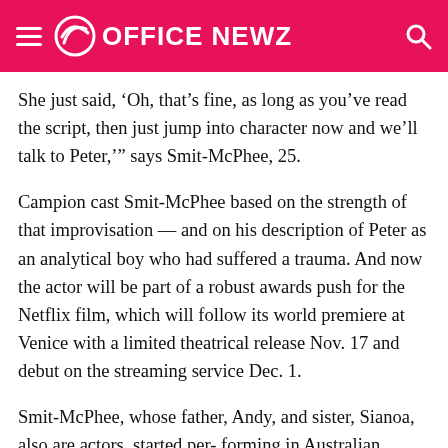OFFICE NEWZ
She just said, ‘Oh, that’s fine, as long as you’ve read the script, then just jump into character now and we’ll talk to Peter,’” says Smit-McPhee, 25.
Campion cast Smit-McPhee based on the strength of that improvisation — and on his description of Peter as an analytical boy who had suffered a trauma. And now the actor will be part of a robust awards push for the Netflix film, which will follow its world premiere at Venice with a limited theatrical release Nov. 17 and debut on the streaming service Dec. 1.
Smit-McPhee, whose father, Andy, and sister, Sianoa, also are actors, started per- forming in Australian productions at 9 and earned international attention for his performance as a boy riding out the apocalypse with his father in the 2009 Cormac McCarthy adaptation The Road. Starring also in...